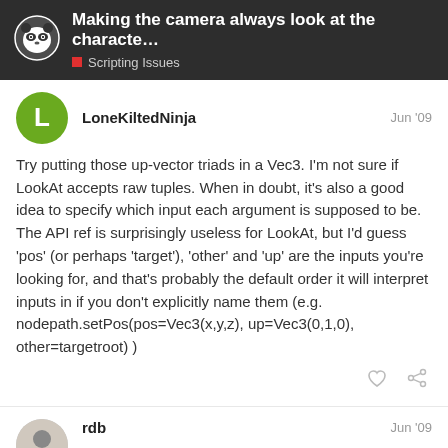Making the camera always look at the characte... | Scripting Issues
LoneKiltedNinja — Jun '09
Try putting those up-vector triads in a Vec3. I'm not sure if LookAt accepts raw tuples. When in doubt, it's also a good idea to specify which input each argument is supposed to be. The API ref is surprisingly useless for LookAt, but I'd guess 'pos' (or perhaps 'target'), 'other' and 'up' are the inputs you're looking for, and that's probably the default order it will interpret inputs in if you don't explicitly name them (e.g. nodepath.setPos(pos=Vec3(x,y,z), up=Vec3(0,1,0), other=targetroot) )
rdb — Jun '09